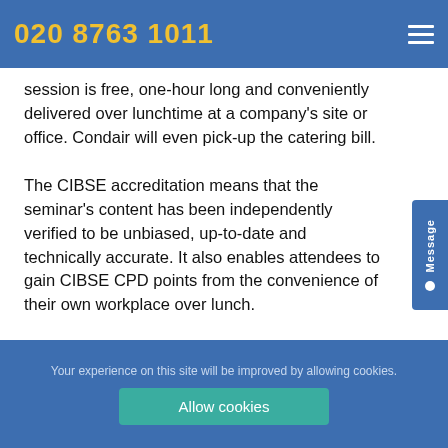020 8763 1011
session is free, one-hour long and conveniently delivered over lunchtime at a company's site or office. Condair will even pick-up the catering bill.
The CIBSE accreditation means that the seminar's content has been independently verified to be unbiased, up-to-date and technically accurate. It also enables attendees to gain CIBSE CPD points from the convenience of their own workplace over lunch.
Your experience on this site will be improved by allowing cookies. Allow cookies